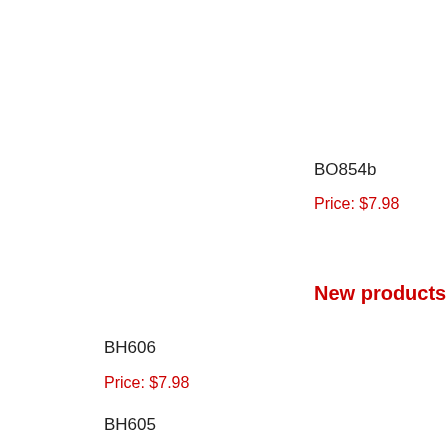BO854b
Price: $7.98
New products
BH606
Price: $7.98
BH605
Price: $7.98